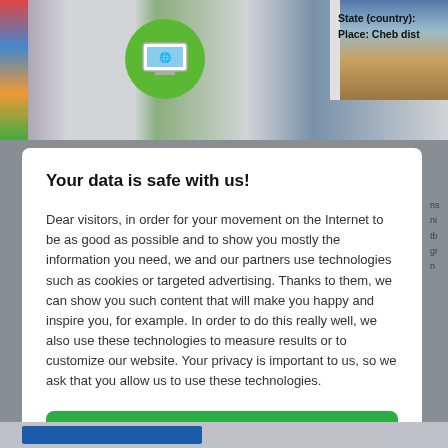[Figure (screenshot): Background webpage with images including a green icon with monitor, landscape photos, and partial text reading 'State (country):' and 'Place: Cheb dist']
Your data is safe with us!
Dear visitors, in order for your movement on the Internet to be as good as possible and to show you mostly the information you need, we and our partners use technologies such as cookies or targeted advertising. Thanks to them, we can show you such content that will make you happy and inspire you, for example. In order to do this really well, we also use these technologies to measure results or to customize our website. Your privacy is important to us, so we ask that you allow us to use these technologies.
Accept
Deny
Set